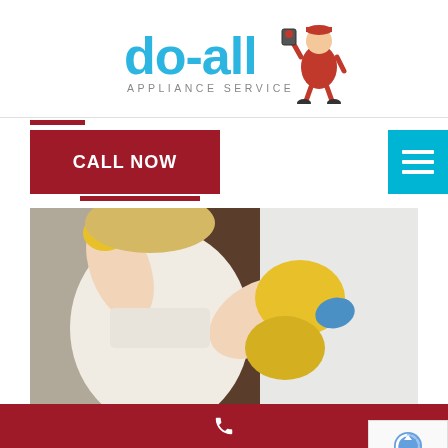[Figure (logo): Do-All Appliance Service logo with red mascot character and blue text]
CALL NOW
[Figure (photo): Person wearing yellow rubber gloves cleaning the side of a white refrigerator/freezer appliance]
Tips on Caring for your Fridge and Freeze...
November 11,2020